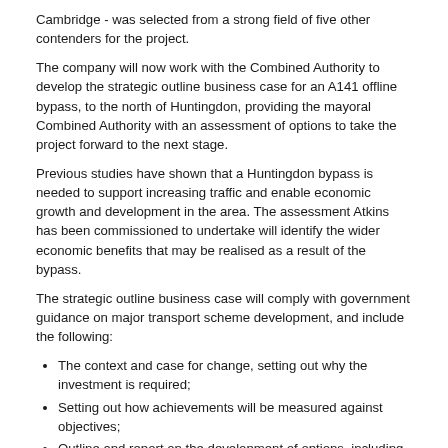Cambridge - was selected from a strong field of five other contenders for the project.
The company will now work with the Combined Authority to develop the strategic outline business case for an A141 offline bypass, to the north of Huntingdon, providing the mayoral Combined Authority with an assessment of options to take the project forward to the next stage.
Previous studies have shown that a Huntingdon bypass is needed to support increasing traffic and enable economic growth and development in the area. The assessment Atkins has been commissioned to undertake will identify the wider economic benefits that may be realised as a result of the bypass.
The strategic outline business case will comply with government guidance on major transport scheme development, and include the following:
The context and case for change, setting out why the investment is required;
Setting out how achievements will be measured against objectives;
Outline and report on the development of options, including innovative options;
Identify funding requirements;
Show benefits like predicted journey times against the do-nothing and do-minimum -scenarios, now and in future.
Cost estimates;
Determine Benefit-to-Cost ratios for each option;
Put in place a robust project governance structure and show the project is affordable.
The public and stakeholders will be consulted over the coming months as part of this stage of developing the scheme.
James Palmer, mayor of Cambridgeshire & Peterborough, said: “Global experience and local knowledge, I’m delighted that we’ve been able to sign up such a big-hitter to move forward this critical work and make the case for investment. Safer greener travel will boost